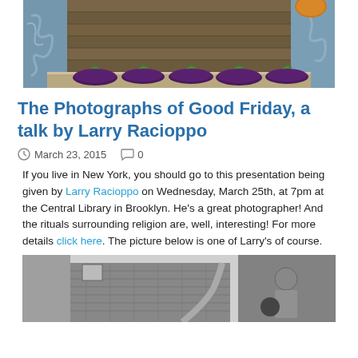[Figure (photo): Color photograph showing eggplants/aubergines resting on a ledge or shelf in front of a weathered wooden door/shutter with blue peeling plaster wall]
The Photographs of Good Friday, a talk by Larry Racioppo
March 23, 2015  0
If you live in New York, you should go to this presentation being given by Larry Racioppo on Wednesday, March 25th, at 7pm at the Central Library in Brooklyn. He's a great photographer! And the rituals surrounding religion are, well, interesting! For more details click here. The picture below is one of Larry's of course.
[Figure (photo): Black and white photograph showing a person in white clothing against a brick building exterior with a spherical object visible]